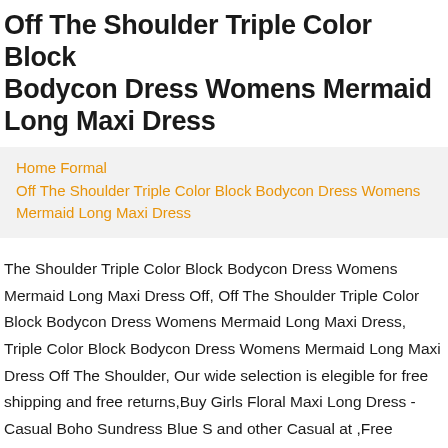Off The Shoulder Triple Color Block Bodycon Dress Womens Mermaid Long Maxi Dress
Home Formal
Off The Shoulder Triple Color Block Bodycon Dress Womens Mermaid Long Maxi Dress
The Shoulder Triple Color Block Bodycon Dress Womens Mermaid Long Maxi Dress Off, Off The Shoulder Triple Color Block Bodycon Dress Womens Mermaid Long Maxi Dress, Triple Color Block Bodycon Dress Womens Mermaid Long Maxi Dress Off The Shoulder, Our wide selection is elegible for free shipping and free returns,Buy Girls Floral Maxi Long Dress - Casual Boho Sundress Blue S and other Casual at ,Free